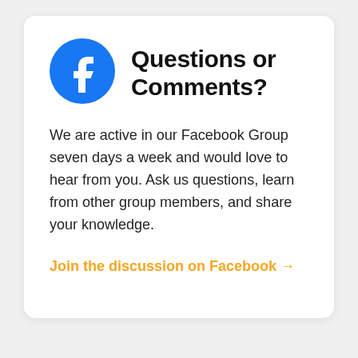[Figure (logo): Facebook logo — blue circle with white 'f' letter]
Questions or Comments?
We are active in our Facebook Group seven days a week and would love to hear from you. Ask us questions, learn from other group members, and share your knowledge.
Join the discussion on Facebook →